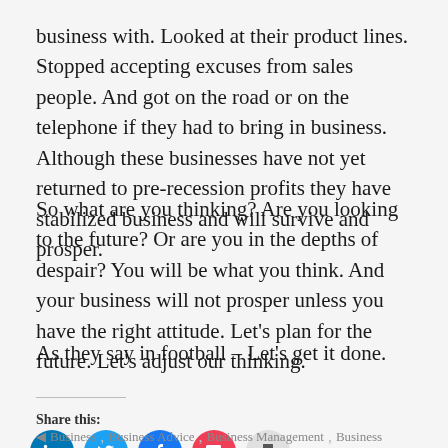business with.  Looked at their product lines.  Stopped accepting excuses from sales people.  And got on the road or on the telephone if they had to bring in business.  Although these businesses have not yet returned to pre-recession profits they have stabilized business and will survive and prosper.
So what are you thinking?  Are you looking to the future?  Or are you in the depths of despair?  You will be what you think.  And your business will not prosper unless you have the right attitude.  Let's plan for the future.  Let's adjust our thinking.
As they say in football – Let's get it done.
Share this:
[Figure (infographic): Row of social sharing icon buttons: LinkedIn (blue), Twitter (light blue), Facebook (blue), Pocket (red/pink), Print (grey)]
Business, Business Advice, Business Management, Business...